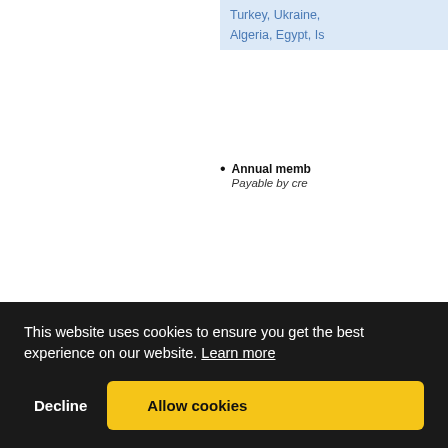| Turkey, Ukraine, |
| Algeria, Egypt, Is |
Annual memb Payable by cre
CORRESPONDI
Corresponding mem listed above. Corres
Election to correspon member shall pay th Executive Committee
Annual memb Payable by cre
ASSOCIATE ME
This website uses cookies to ensure you get the best experience on our website. Learn more
Decline
Allow cookies